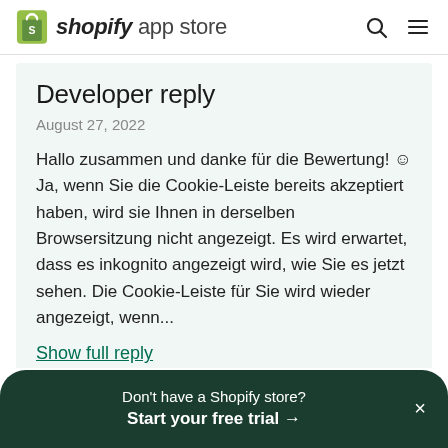shopify app store
Developer reply
August 27, 2022
Hallo zusammen und danke für die Bewertung! ☺
Ja, wenn Sie die Cookie-Leiste bereits akzeptiert haben, wird sie Ihnen in derselben Browsersitzung nicht angezeigt. Es wird erwartet, dass es inkognito angezeigt wird, wie Sie es jetzt sehen. Die Cookie-Leiste für Sie wird wieder angezeigt, wenn...
Show full reply
Don't have a Shopify store?
Start your free trial →